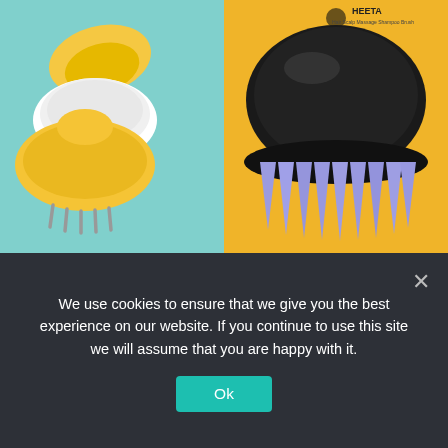[Figure (photo): Two scalp massager brushes side by side. Left half: teal/cyan background with yellow silicone scalp massager brushes. Right half: yellow/gold background with a black HEETA brand scalp massager with purple/lavender bristles.]
The 10 Best Scalp Massagers, According to Customer Reviews
We use cookies to ensure that we give you the best experience on our website. If you continue to use this site we will assume that you are happy with it.